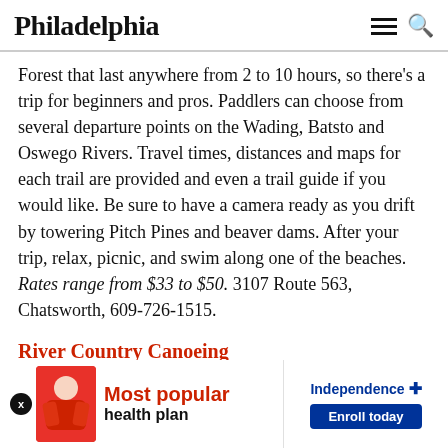Philadelphia
Forest that last anywhere from 2 to 10 hours, so there’s a trip for beginners and pros. Paddlers can choose from several departure points on the Wading, Batsto and Oswego Rivers. Travel times, distances and maps for each trail are provided and even a trail guide if you would like. Be sure to have a camera ready as you drift by towering Pitch Pines and beaver dams. After your trip, relax, picnic, and swim along one of the beaches. Rates range from $33 to $50. 3107 Route 563, Chatsworth, 609-726-1515.
River Country Canoeing
River Country may claim they’re the tubing capital of the world, but they also offer canoeing and kayaking for other, more physical, ways to travel down the calmer
[Figure (infographic): Advertisement banner for Independence health plan. Shows a person in a red jacket, text 'Most popular health plan' in red and black, and Independence Plus logo with 'Enroll today' button in blue.]